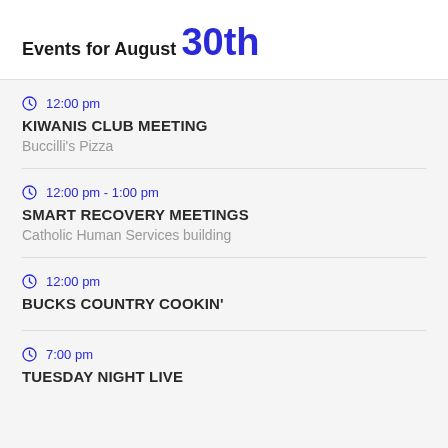Events for August 30th
12:00 pm — KIWANIS CLUB MEETING — Buccilli's Pizza
12:00 pm - 1:00 pm — SMART RECOVERY MEETINGS — Catholic Human Services building
12:00 pm — BUCKS COUNTRY COOKIN'
7:00 pm — TUESDAY NIGHT LIVE